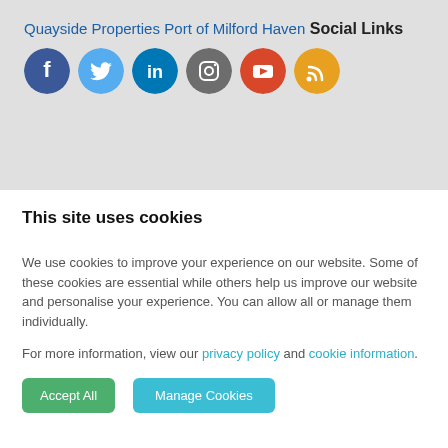Quayside Properties
Port of Milford Haven
Social Links
[Figure (infographic): Six circular social media icons in a row: Facebook (dark blue), Twitter (light blue), LinkedIn (medium blue), Instagram (grey), YouTube (red/orange), RSS (orange)]
This site uses cookies
We use cookies to improve your experience on our website. Some of these cookies are essential while others help us improve our website and personalise your experience. You can allow all or manage them individually.
For more information, view our privacy policy and cookie information.